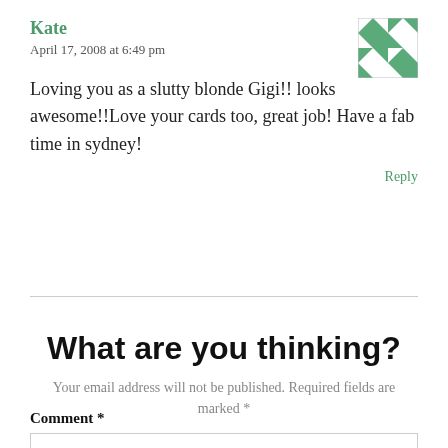Kate
April 17, 2008 at 6:49 pm
[Figure (illustration): Decorative avatar icon with green and white geometric quilt-like pattern]
Loving you as a slutty blonde Gigi!! looks awesome!!Love your cards too, great job! Have a fab time in sydney!
Reply
What are you thinking?
Your email address will not be published. Required fields are marked *
Comment *